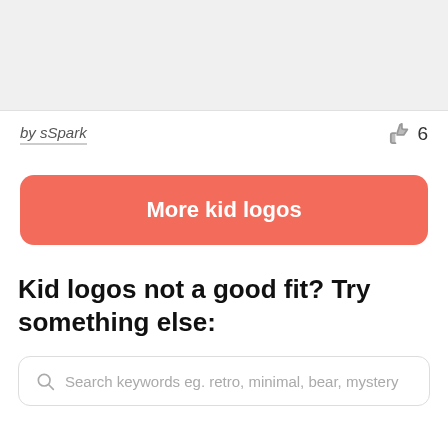[Figure (other): Gray placeholder area at the top of the page]
by sSpark
6
More kid logos
Kid logos not a good fit? Try something else:
Search keywords eg. retro, minimal, bear, mystery